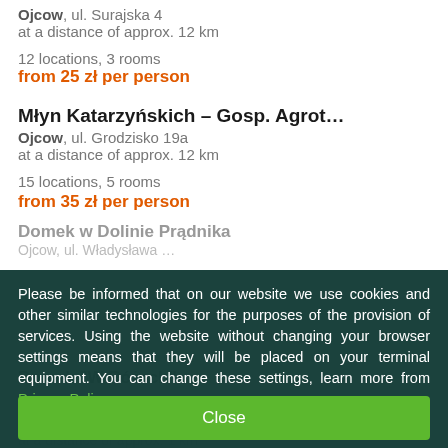Ojcow, ul. Surajska 4
at a distance of approx. 12 km
12 locations, 3 rooms
from 25 zł per person
Młyn Katarzyńskich – Gosp. Agrot…
Ojcow, ul. Grodzisko 19a
at a distance of approx. 12 km
15 locations, 5 rooms
from 35 zł per person
Please be informed that on our website we use cookies and other similar technologies for the purposes of the provision of services. Using the website without changing your browser settings means that they will be placed on your terminal equipment. You can change these settings, learn more from Privacy Policy.
Close